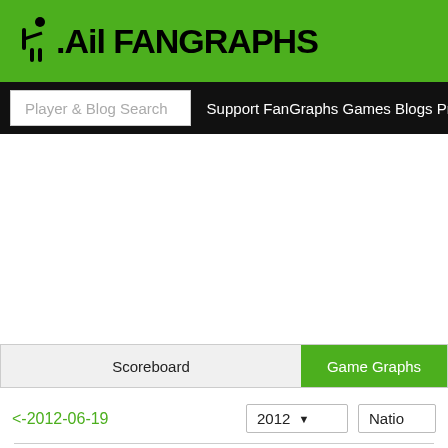FanGraphs
Player & Blog Search  Support FanGraphs Games Blogs Projectio
Scoreboard
Game Graphs
<-2012-06-19
2012 ▼
Natio